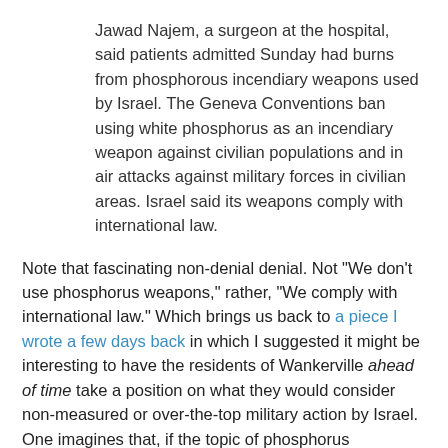Jawad Najem, a surgeon at the hospital, said patients admitted Sunday had burns from phosphorous incendiary weapons used by Israel. The Geneva Conventions ban using white phosphorus as an incendiary weapon against civilian populations and in air attacks against military forces in civilian areas. Israel said its weapons comply with international law.
Note that fascinating non-denial denial. Not "We don't use phosphorus weapons," rather, "We comply with international law." Which brings us back to a piece I wrote a few days back in which I suggested it might be interesting to have the residents of Wankerville ahead of time take a position on what they would consider non-measured or over-the-top military action by Israel. One imagines that, if the topic of phosphorus incendiary weapons had come up then, a few people might have drawn the line.
As it is, though, now that it appears to have happened, one guesses that those same wankers suddenly don't have a